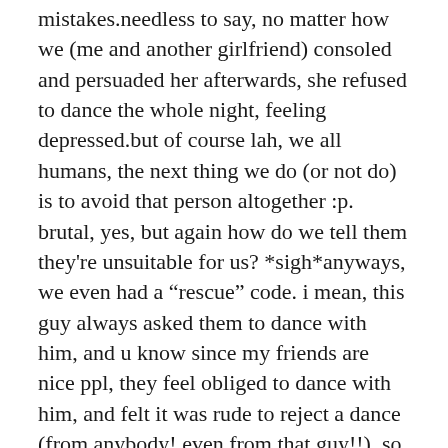mistakes.needless to say, no matter how we (me and another girlfriend) consoled and persuaded her afterwards, she refused to dance the whole night, feeling depressed.but of course lah, we all humans, the next thing we do (or not do) is to avoid that person altogether :p. brutal, yes, but again how do we tell them they're unsuitable for us? *sigh*anyways, we even had a “resue” code. i mean, this guy always asked them to dance with him, and u know since my friends are nice ppl, they feel obliged to dance with him, and felt it was rude to reject a dance (from anybody! even from that guy!!). so everytime if they're forced to dance with him, and couldn't stand anymore, they will signal, and one of us would go to the rescue :p.or i saw that he's approaching her, i would go ahead and ask her for a dance first.difficult difficult, but things we need to learn to manage. it makes us all better in handling situations like this.